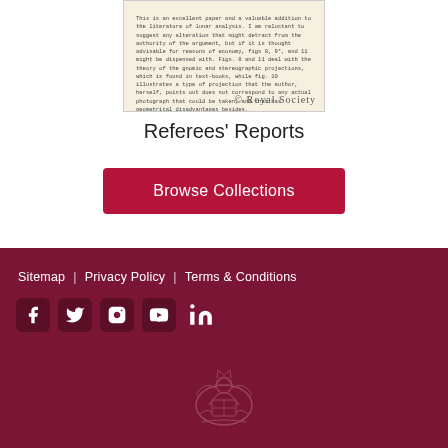[Figure (photo): Scanned document page showing typewritten text about an excellent paper on a scientific topic, with '© Royal Society' watermark overlay]
Referees' Reports
Browse Collections
Sitemap | Privacy Policy | Terms & Conditions
[Figure (logo): Royal Society crest/logo in light color on dark maroon footer background]